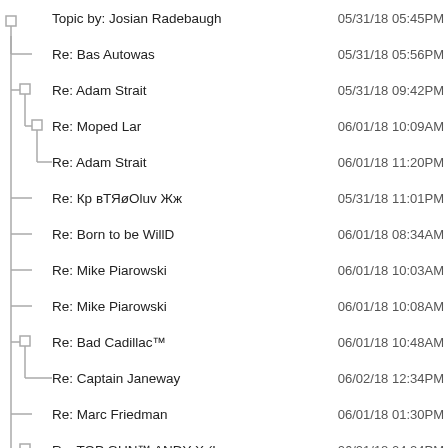Topic by: Josian Radebaugh  05/31/18 05:45PM
Re: Bas Autowas  05/31/18 05:56PM
Re: Adam Strait  05/31/18 09:42PM
Re: Moped Lar  06/01/18 10:09AM
Re: Adam Strait  06/01/18 11:20PM
Re: Кр вТЯøOluv Жж  05/31/18 11:01PM
Re: Born to be WillD  06/01/18 08:34AM
Re: Mike Piarowski  06/01/18 10:03AM
Re: Mike Piarowski  06/01/18 10:08AM
Re: Bad Cadillac™  06/01/18 10:48AM
Re: Captain Janeway  06/02/18 12:34PM
Re: Marc Friedman  06/01/18 01:30PM
Re: TOP GUN™ ANDY X (L...  06/01/18 04:24PM
Re: Tri-ped Dave O.D.B.  06/01/18 07:40PM